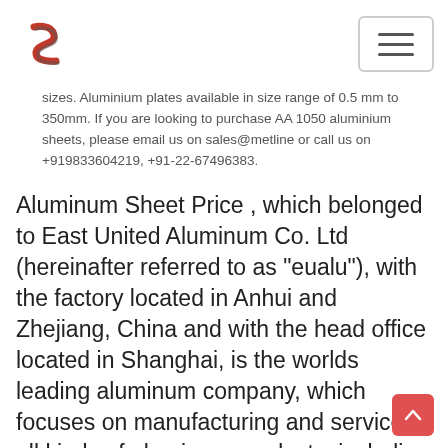[Logo] [Navigation hamburger menu]
sizes. Aluminium plates available in size range of 0.5 mm to 350mm. If you are looking to purchase AA 1050 aluminium sheets, please email us on sales@metline or call us on +919833604219, +91-22-67496383.
Aluminum Sheet Price , which belonged to East United Aluminum Co. Ltd (hereinafter referred to as "eualu"), with the factory located in Anhui and Zhejiang, China and with the head office located in Shanghai, is the worlds leading aluminum company, which focuses on manufacturing and service of all kinds of aluminum products, including aluminum plain plate /coil/ Aluminum Sheet|China Aluminum Sheet Suppliers Factory
Aluminum sheet produced by Haomei,aluminum sheet thickness is 4-600 mm,width is 100-2600 mm.Customers can get customized size as need.If you need Aluminum Sheet such as 3003 Sheet , 5052 Sheet and 6061 Sheet , we have got you covered,we can provide qualified products to you. In addition,we